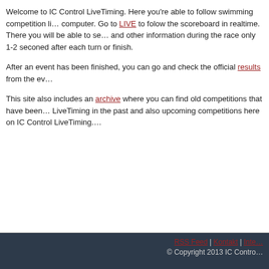Welcome to IC Control LiveTiming. Here you're able to follow swimming competition li... computer. Go to LIVE to folow the scoreboard in realtime. There you will be able to se... and other information during the race only 1-2 seconed after each turn or finish.
After an event has been finished, you can go and check the official results from the ev...
This site also includes an archive where you can find old competitions that have been... LiveTiming in the past and also upcoming competitions here on IC Control LiveTiming.
RSS Feed | Kontakt | Inte... © Copyright 2013 IC Contro...